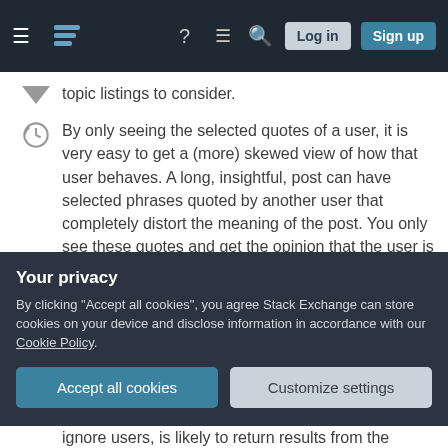Stack Exchange navigation bar with hamburger menu, logo, help, chat, search, Log in, Sign up
topic listings to consider.
By only seeing the selected quotes of a user, it is very easy to get a (more) skewed view of how that user behaves. A long, insightful, post can have selected phrases quoted by another user that completely distort the meaning of the post. You only see these quotes and get the opinion that the user is still wrong/incorrect/ignorant and pat yourself on the back for ignoring this user's contributions. In reality, you've missed a vital part of the conversation
Your privacy
By clicking "Accept all cookies", you agree Stack Exchange can store cookies on your device and disclose information in accordance with our Cookie Policy.
Accept all cookies   Customize settings
ignore users, is likely to return results from the